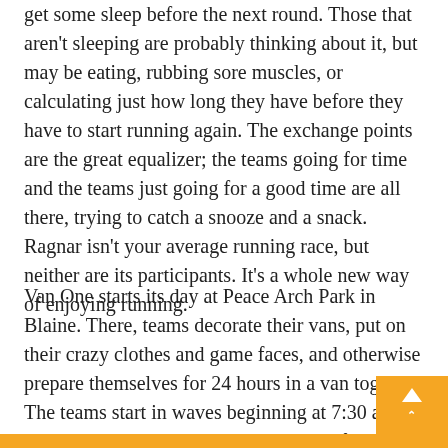get some sleep before the next round. Those that aren't sleeping are probably thinking about it, but may be eating, rubbing sore muscles, or calculating just how long they have before they have to start running again. The exchange points are the great equalizer; the teams going for time and the teams just going for a good time are all there, trying to catch a snooze and a snack. Ragnar isn't your average running race, but neither are its participants. It's a whole new way of enjoying running.
Van One starts its day at Peace Arch Park in Blaine. There, teams decorate their vans, put on their crazy clothes and game faces, and otherwise prepare themselves for 24 hours in a van together. The teams start in waves beginning at 7:30 am, continuing throughout the day with the fastest teams starting last. The six runners in Van One take turns running through Blaine, Birch Bay, Ferndale, and Bellingham, handing off a bright orange slap bracelet. Team members run alongside busy highways, on peaceful country roads, and on trails; through Bellingham, across the Skagit Flats of